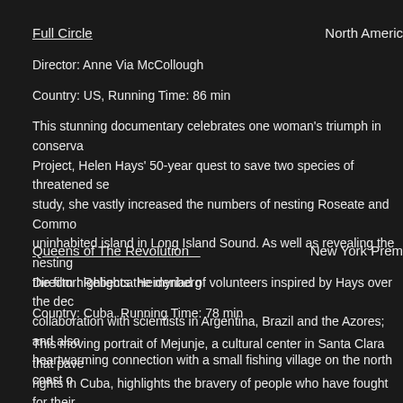Full Circle
North America
Director: Anne Via McCollough
Country: US, Running Time: 86 min
This stunning documentary celebrates one woman's triumph in conservation Project, Helen Hays' 50-year quest to save two species of threatened se study, she vastly increased the numbers of nesting Roseate and Commo uninhabited island in Long Island Sound. As well as revealing the nesting the film highlights the myriad of volunteers inspired by Hays over the dec collaboration with scientists in Argentina, Brazil and the Azores; and also heartwarming connection with a small fishing village on the north coast o
Queens of The Revolution
New York Prem
Director: Rebecca Heidenberg
Country: Cuba, Running Time: 78 min
This moving portrait of Mejunje, a cultural center in Santa Clara that pave rights in Cuba, highlights the bravery of people who have fought for their decades. Meandering through the streets of Santa Clara, into the homes the stage, the film tells the story of Mejunje through a chorus of voices